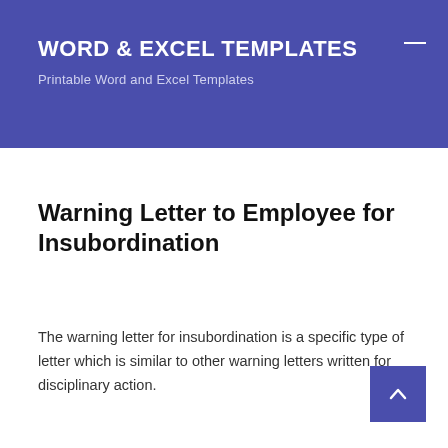WORD & EXCEL TEMPLATES
Printable Word and Excel Templates
Warning Letter to Employee for Insubordination
The warning letter for insubordination is a specific type of letter which is similar to other warning letters written for disciplinary action.